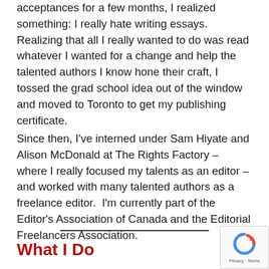acceptances for a few months, I realized something: I really hate writing essays. Realizing that all I really wanted to do was read whatever I wanted for a change and help the talented authors I know hone their craft, I tossed the grad school idea out of the window and moved to Toronto to get my publishing certificate.
Since then, I've interned under Sam Hiyate and Alison McDonald at The Rights Factory – where I really focused my talents as an editor – and worked with many talented authors as a freelance editor.  I'm currently part of the Editor's Association of Canada and the Editorial Freelancers Association.
What I Do